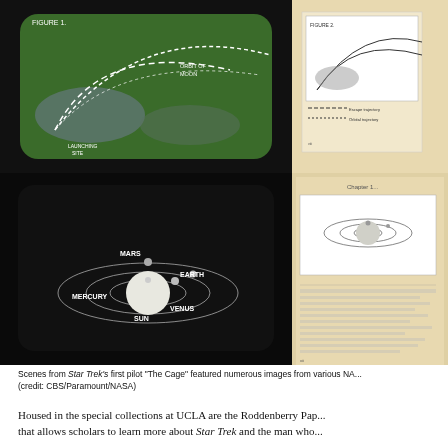[Figure (photo): Scene from Star Trek's first pilot 'The Cage' showing a NASA trajectory diagram on a green map background with white dashed arc lines and labels including 'ORBIT OF MOON' and 'LAUNCHING SITE'. Black framed display.]
[Figure (photo): Side page from a book or document showing a similar trajectory figure in black and white.]
[Figure (photo): Scene from Star Trek's first pilot 'The Cage' showing a NASA solar system diagram on black background with orbital rings and labeled planets: MERCURY, VENUS (SUN), EARTH, MARS. White sphere representing the Sun in center.]
[Figure (photo): Side page from a book showing a solar system diagram with orbital rings and a white sphere, with text below.]
Scenes from Star Trek's first pilot "The Cage" featured numerous images from various NA... (credit: CBS/Paramount/NASA)
Housed in the special collections at UCLA are the Roddenberry Pap... that allows scholars to learn more about Star Trek and the man who...